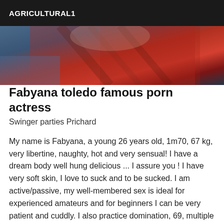AGRICULTURAL1
[Figure (photo): Partial photo of a person wearing a red plaid/checkered top, cropped view]
Fabyana toledo famous porn actress
Swinger parties Prichard
My name is Fabyana, a young 26 years old, 1m70, 67 kg, very libertine, naughty, hot and very sensual! I have a dream body well hung delicious ... I assure you ! I have very soft skin, I love to suck and to be sucked. I am active/passive, my well-membered sex is ideal for experienced amateurs and for beginners I can be very patient and cuddly. I also practice domination, 69, multiple penetrations and all kinds of fantasies and fantasies that you would like to share with me. My services are of quality. I receive in a private and discreet apartment. If you are looking for a person to share warm moments and full of pleasure in bed, do not hesitate to